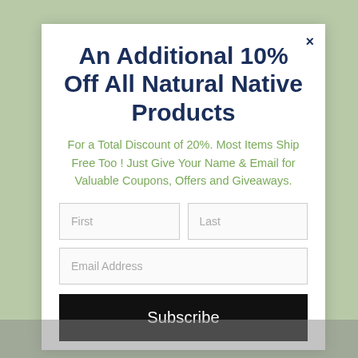An Additional 10% Off All Natural Native Products
For a Total Discount of 20%. Most Items Ship Free Too ! Just Give Your Name & Email for Valuable Coupons, Offers and Giveaways.
First
Last
Email Address
Subscribe